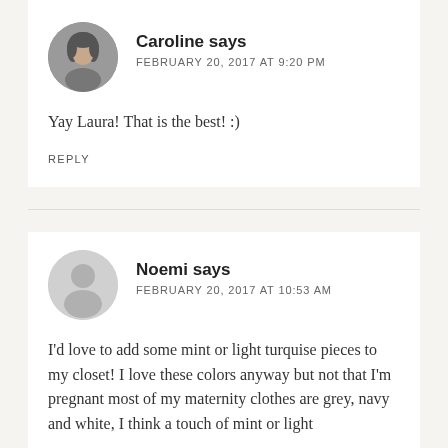[Figure (photo): Circular avatar photo of Caroline, a woman]
Caroline says
FEBRUARY 20, 2017 AT 9:20 PM
Yay Laura! That is the best! :)
REPLY
[Figure (illustration): Default gray circular avatar silhouette for Noemi]
Noemi says
FEBRUARY 20, 2017 AT 10:53 AM
I'd love to add some mint or light turquise pieces to my closet! I love these colors anyway but not that I'm pregnant most of my maternity clothes are grey, navy and white, I think a touch of mint or light